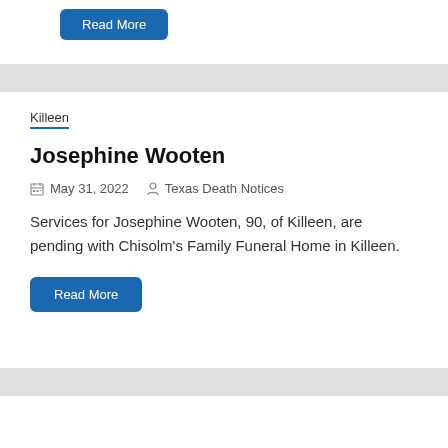Read More
Killeen
Josephine Wooten
May 31, 2022   Texas Death Notices
Services for Josephine Wooten, 90, of Killeen, are pending with Chisolm's Family Funeral Home in Killeen.
Read More